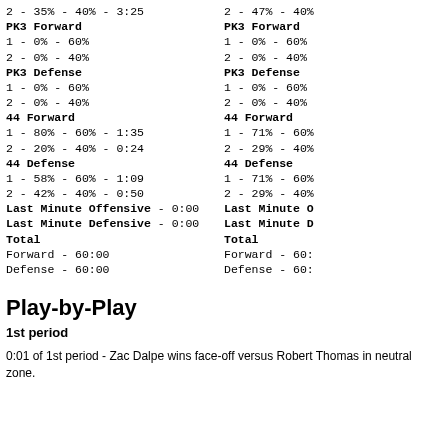2 - 35% - 40% - 3:25
PK3 Forward
1 - 0% - 60%
2 - 0% - 40%
PK3 Defense
1 - 0% - 60%
2 - 0% - 40%
44 Forward
1 - 80% - 60% - 1:35
2 - 20% - 40% - 0:24
44 Defense
1 - 58% - 60% - 1:09
2 - 42% - 40% - 0:50
Last Minute Offensive - 0:00
Last Minute Defensive - 0:00
Total
Forward - 60:00
Defense - 60:00
2 - 47% - 40%
PK3 Forward
1 - 0% - 60%
2 - 0% - 40%
PK3 Defense
1 - 0% - 60%
2 - 0% - 40%
44 Forward
1 - 71% - 60%
2 - 29% - 40%
44 Defense
1 - 71% - 60%
2 - 29% - 40%
Last Minute O
Last Minute D
Total
Forward - 60:
Defense - 60:
Play-by-Play
1st period
0:01 of 1st period - Zac Dalpe wins face-off versus Robert Thomas in neutral zone.